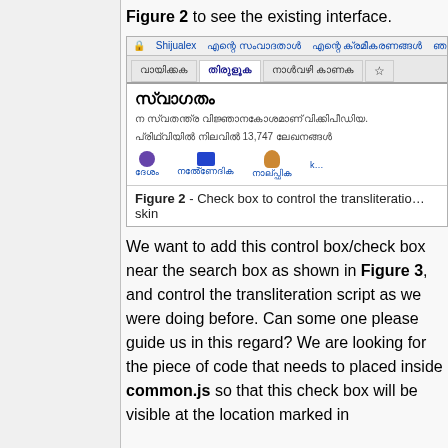Figure 2 to see the existing interface.
[Figure (screenshot): Screenshot of Malayalam Wikipedia interface showing transliteration control with tabs and icons]
Figure 2 - Check box to control the transliteration skin
We want to add this control box/check box near the search box as shown in Figure 3, and control the transliteration script as we were doing before. Can some one please guide us in this regard? We are looking for the piece of code that needs to placed inside common.js so that this check box will be visible at the location marked in